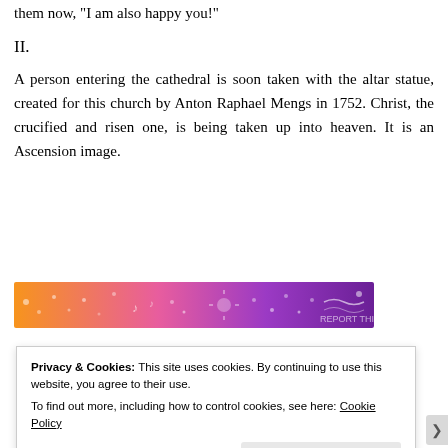them now, "I am also happy you!"
II.
A person entering the cathedral is soon taken with the altar statue, created for this church by Anton Raphael Mengs in 1752. Christ, the crucified and risen one, is being taken up into heaven. It is an Ascension image.
[Figure (infographic): Colorful banner advertisement with gradient from orange to purple with white decorative patterns and musical notes]
Privacy & Cookies: This site uses cookies. By continuing to use this website, you agree to their use.
To find out more, including how to control cookies, see here: Cookie Policy
Close and accept